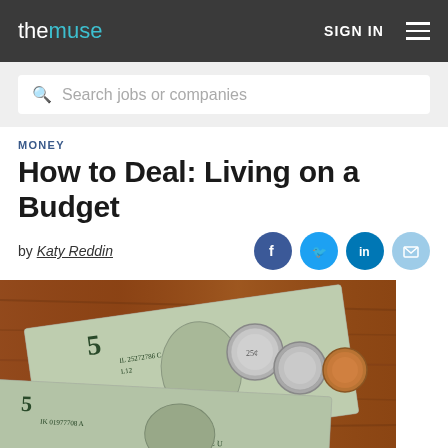the muse — SIGN IN
Search jobs or companies
MONEY
How to Deal: Living on a Budget
by Katy Reddin
[Figure (photo): Photo of US dollar bills and coins on a wooden surface, showing $5 bills with serial numbers IL 25272786 C L12 and IK 01977708 A, with quarters and a penny visible]